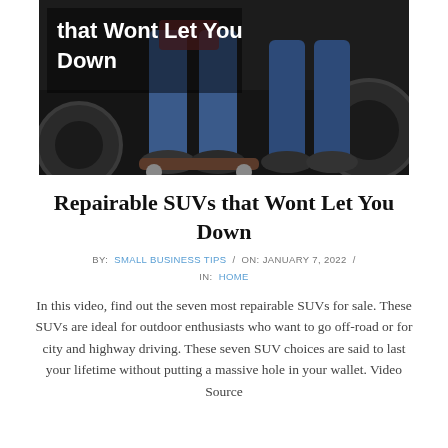[Figure (photo): Hero image showing legs and feet of a person sitting near a skateboard and car wheels on a dark asphalt surface, with white bold text overlay reading 'that Wont Let You Down']
Repairable SUVs that Wont Let You Down
BY:  SMALL BUSINESS TIPS  /  ON: JANUARY 7, 2022  /  IN:  HOME
In this video, find out the seven most repairable SUVs for sale. These SUVs are ideal for outdoor enthusiasts who want to go off-road or for city and highway driving. These seven SUV choices are said to last your lifetime without putting a massive hole in your wallet. Video Source